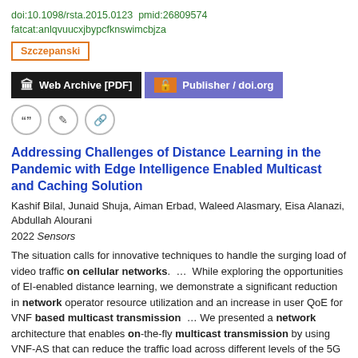doi:10.1098/rsta.2015.0123  pmid:26809574
fatcat:anlqvuucxjbypcfknswimcbjza
Szczepanski
Web Archive [PDF]   Publisher / doi.org
Addressing Challenges of Distance Learning in the Pandemic with Edge Intelligence Enabled Multicast and Caching Solution
Kashif Bilal, Junaid Shuja, Aiman Erbad, Waleed Alasmary, Eisa Alanazi, Abdullah Alourani
2022 Sensors
The situation calls for innovative techniques to handle the surging load of video traffic on cellular networks. … While exploring the opportunities of EI-enabled distance learning, we demonstrate a significant reduction in network operator resource utilization and an increase in user QoE for VNF based multicast transmission … We presented a network architecture that enables on-the-fly multicast transmission by using VNF-AS that can reduce the traffic load across different levels of the 5G cellular network without…